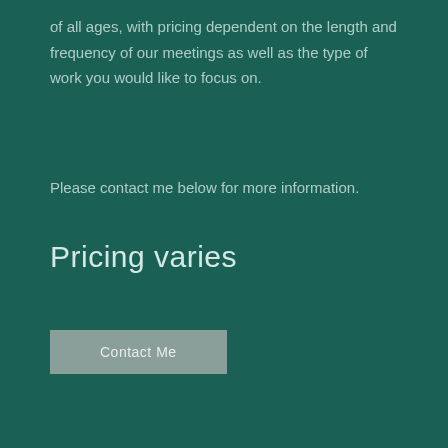of all ages, with pricing dependent on the length and frequency of our meetings as well as the type of work you would like to focus on.
Please contact me below for more information.
Pricing varies
Contact Me